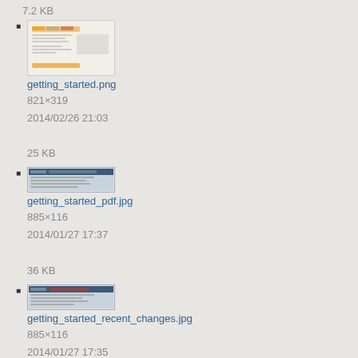7.2 KB
getting_started.png
821×319
2014/02/26 21:03
25 KB
getting_started_pdf.jpg
885×116
2014/01/27 17:37
36 KB
getting_started_recent_changes.jpg
885×116
2014/01/27 17:35
36.2 KB
getting_started_search.jpg
976×144
2012/12/17 23:22